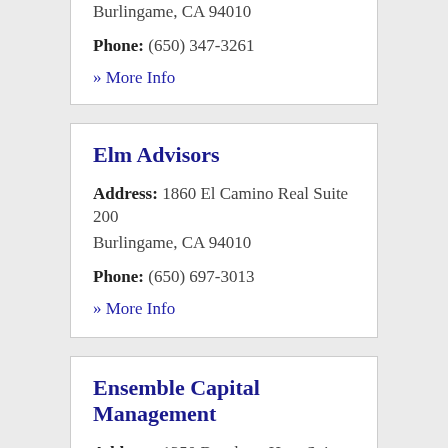Burlingame, CA 94010
Phone: (650) 347-3261
» More Info
Elm Advisors
Address: 1860 El Camino Real Suite 200 Burlingame, CA 94010
Phone: (650) 697-3013
» More Info
Ensemble Capital Management
Address: 1350 Bayshore Hwy Suite 460 Burlingame, CA 94010
Phone: (650) 696-1240